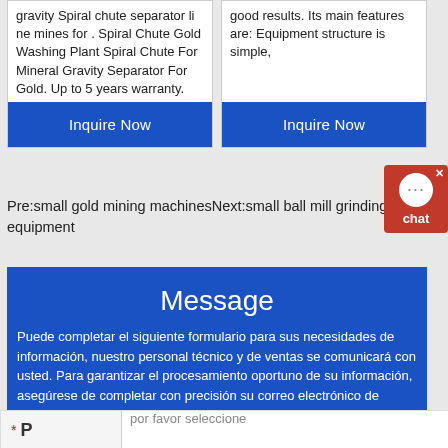gravity spiral chute separator li ne mines for . Spiral Chute Gold Washing Plant Spiral Chute For Mineral Gravity Separator For Gold. Up to 5 years warranty.
good results. Its main features are: Equipment structure is simple,
Inquire Now
Inquire Now
Pre:small gold mining machinesNext:small ball mill grinding equipment
Message
Puede completar el siguiente formulario para sus necesidades de información, nuestro personal técnico y de ventas se comunicará con usted. Para garantizar el procesamiento oportuno de su información, asegúrese de completar con precisión su correo electrónico de contacto.
por favor seleccione